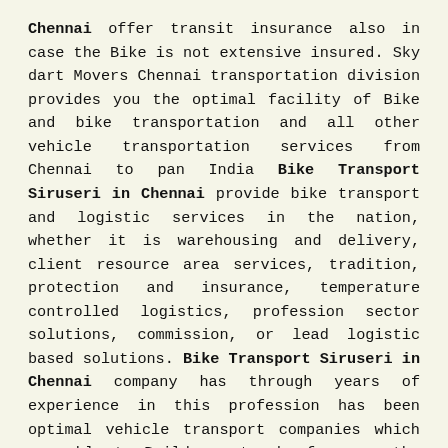Chennai offer transit insurance also in case the Bike is not extensive insured. Sky dart Movers Chennai transportation division provides you the optimal facility of Bike and bike transportation and all other vehicle transportation services from Chennai to pan India Bike Transport Siruseri in Chennai provide bike transport and logistic services in the nation, whether it is warehousing and delivery, client resource area services, tradition, protection and insurance, temperature controlled logistics, profession sector solutions, commission, or lead logistic based solutions. Bike Transport Siruseri in Chennai company has through years of experience in this profession has been optimal vehicle transport companies which are able to Build a network of across the length and breadth of country, with our own logistic centers expansion throughout the country, which helps us to provide safe, Dependable, economical and customized logistic solutions to our clients and partners.